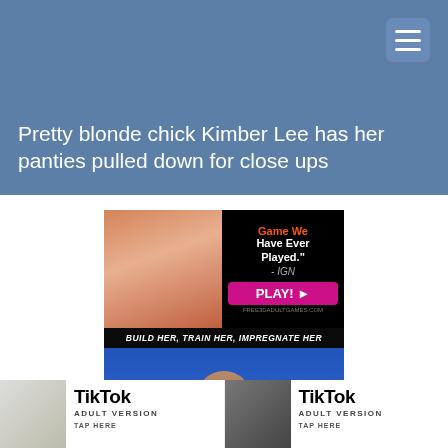Pretty blonde chick Kimber Lee has her panties pulled down for close ups
[Figure (advertisement): Adult game advertisement with 3D animated characters, quote 'Game We Have Ever Played.' - IGN, PLAY! button, FREE3DADULTGAMES.COM, tagline BUILD HER, TRAIN HER, IMPREGNATE HER, and PLAY NOW button]
[Figure (advertisement): TikTok Adult Version advertisement - left card with partial image]
[Figure (advertisement): TikTok Adult Version advertisement - right card with partial image]